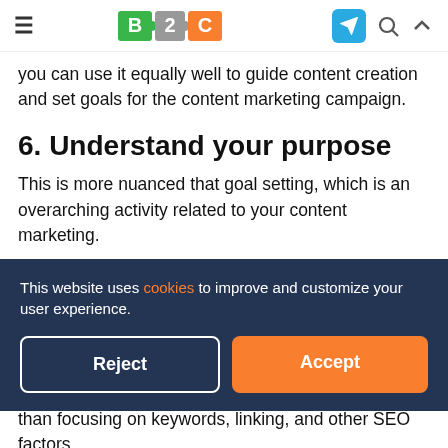B2C [logo] — navigation header with hamburger menu, B2C logo, Telegram icon, search icon, chevron up icon
you can use it equally well to guide content creation and set goals for the content marketing campaign.
6. Understand your purpose
This is more nuanced that goal setting, which is an overarching activity related to your content marketing.
Instead, a purpose is the purpose of a particular piece of content. Maybe the purpose is to create awareness, in which
This website uses cookies to improve and customize your user experience.
than focusing on keywords, linking, and other SEO factors,